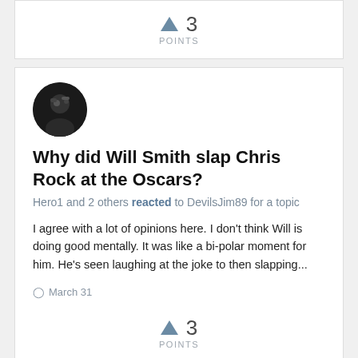↑ 3 POINTS
[Figure (other): User avatar circle with dark profile photo]
Why did Will Smith slap Chris Rock at the Oscars?
Hero1 and 2 others reacted to DevilsJim89 for a topic
I agree with a lot of opinions here. I don't think Will is doing good mentally. It was like a bi-polar moment for him. He's seen laughing at the joke to then slapping...
March 31
↑ 3 POINTS